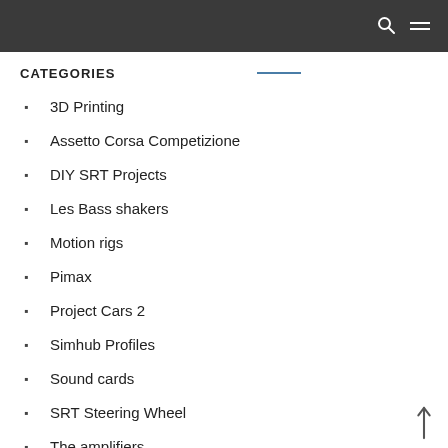CATEGORIES
3D Printing
Assetto Corsa Competizione
DIY SRT Projects
Les Bass shakers
Motion rigs
Pimax
Project Cars 2
Simhub Profiles
Sound cards
SRT Steering Wheel
The amplifiers
The…